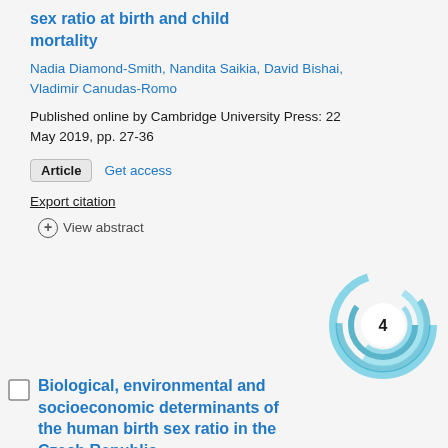sex ratio at birth and child mortality
Nadia Diamond-Smith, Nandita Saikia, David Bishai, Vladimir Canudas-Romo
Published online by Cambridge University Press: 22 May 2019, pp. 27-36
Article   Get access
Export citation
⊕ View abstract
[Figure (donut-chart): Altmetric donut badge showing score of 4, rendered as swirling teal/blue circles]
Biological, environmental and socioeconomic determinants of the human birth sex ratio in the Czech Republic
Petr Houdek, Ondřej Dvouletý, Marek Pažitka
Published online by Cambridge University Press: 13